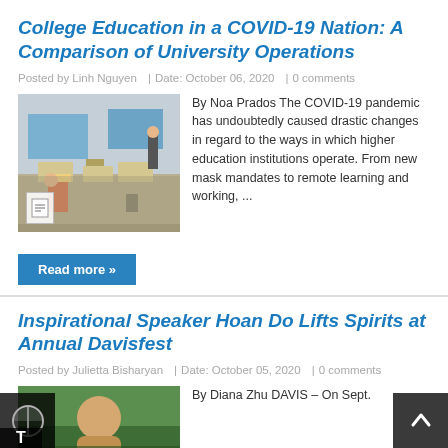College Education in a COVID-19 Nation: A Comparison of University Operations
Posted by Linh Nguyen  |  Date: October 06, 2020  |  0 comments
[Figure (photo): Empty classroom with desks and a person standing near a screen at the back]
By Noa Prados  The COVID-19 pandemic has undoubtedly caused drastic changes in regard to the ways in which higher education institutions operate. From new mask mandates to remote learning and working, ...
Read more »
Inspirational Speaker Hoan Do Lifts Spirits at Annual Davisfest
Posted by Julietta Bisharyan  |  Date: October 05, 2020  |  0 comments
[Figure (photo): Portrait photo of a man outdoors with green background]
By Diana Zhu DAVIS – On Sept.